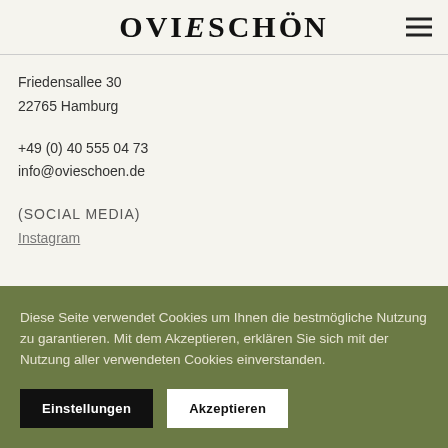OVIESCHÖN
Friedensallee 30
22765 Hamburg
+49 (0) 40 555 04 73
info@ovieschoen.de
(SOCIAL MEDIA)
Instagram
Diese Seite verwendet Cookies um Ihnen die bestmögliche Nutzung zu garantieren. Mit dem Akzeptieren, erklären Sie sich mit der Nutzung aller verwendeten Cookies einverstanden.
Einstellungen  Akzeptieren